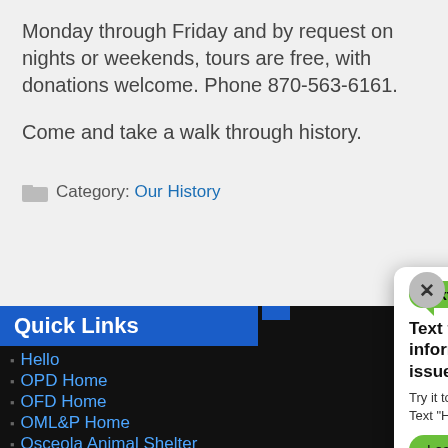Monday through Friday and by request on nights or weekends, tours are free, with donations welcome. Phone 870-563-6161.
Come and take a walk through history.
Category: Our History
Quick Links
Hello
OPD Home
OFD Home
OML&P Home
Osceola Animal Shelter
[Figure (screenshot): TextMyGov popup widget with green bubble logo, headline 'Text the city to find information and report issues!', subtext 'Try it today, Text "Hi" to 870.576.4744', and a green Learn More button. Has an X close button in top right.]